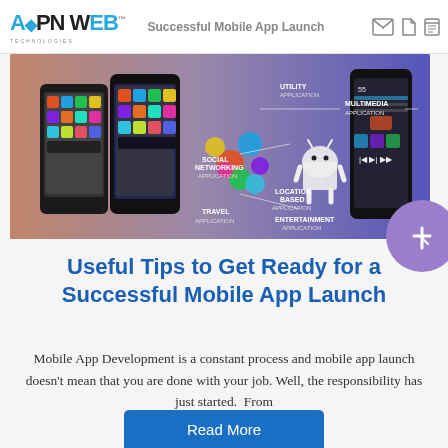APPNWEB Technologies — Useful Tips to Get Ready for a Successful Mobile App Launch
[Figure (infographic): Mobile app categories infographic showing smartphones and an Android mascot surrounded by app icons, with labels: Multimedia Application, Social Networking Application, Travel Application, Utility Application, Entertainment Application, Location Based Application]
Useful Tips to Get Ready for a Successful Mobile App Launch
Mobile App Development is a constant process and mobile app launch doesn't mean that you are done with your job. Well, the responsibility has just started.  From